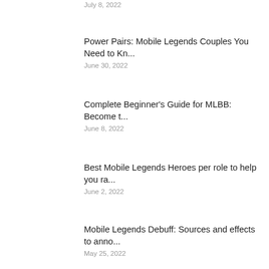July 8, 2022
Power Pairs: Mobile Legends Couples You Need to Kn...
June 30, 2022
Complete Beginner’s Guide for MLBB: Become t...
June 8, 2022
Best Mobile Legends Heroes per role to help you ra...
June 2, 2022
Mobile Legends Debuff: Sources and effects to anno...
May 25, 2022